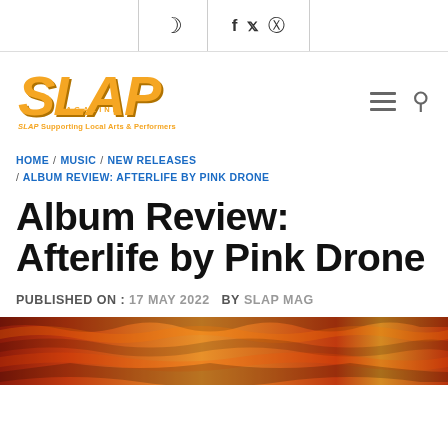🌙 f ⊠ 🐦
[Figure (logo): SLAP Magazine logo — orange stylized letters SLAP in italic bold, with 'MAGAZINE' below in smaller text, and tagline 'SLAP Supporting Local Arts & Performers' beneath]
HOME / MUSIC / NEW RELEASES / ALBUM REVIEW: AFTERLIFE BY PINK DRONE
Album Review: Afterlife by Pink Drone
PUBLISHED ON : 17 MAY 2022   BY SLAP MAG
[Figure (photo): Bottom strip of a colorful album cover artwork with warm red, orange and yellow tones]